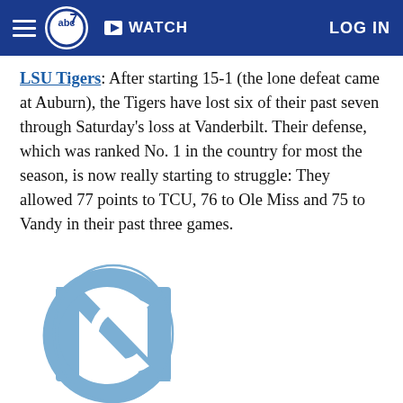ABC7 | WATCH | LOG IN
LSU Tigers: After starting 15-1 (the lone defeat came at Auburn), the Tigers have lost six of their past seven through Saturday's loss at Vanderbilt. Their defense, which was ranked No. 1 in the country for most the season, is now really starting to struggle: They allowed 77 points to TCU, 76 to Ole Miss and 75 to Vandy in their past three games.
[Figure (logo): North Carolina Tar Heels interlocking NC logo in light blue]
North Carolina Tar Heels: A four-game winning streak meant Saturday's Tobacco Road showdown m…